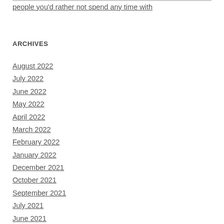people you'd rather not spend any time with
ARCHIVES
August 2022
July 2022
June 2022
May 2022
April 2022
March 2022
February 2022
January 2022
December 2021
October 2021
September 2021
July 2021
June 2021